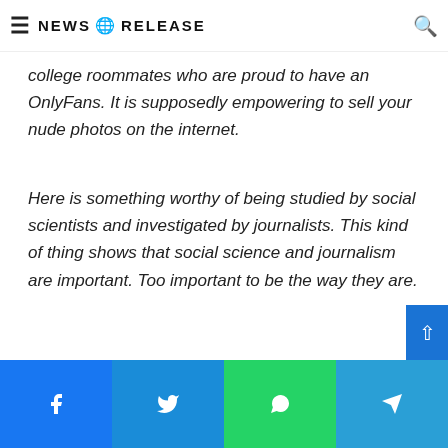NEWS RELEASE
is, prostitute or sugar baby and the like. This friend herself has college roommates who are proud to have an OnlyFans. It is supposedly empowering to sell your nude photos on the internet.
Here is something worthy of being studied by social scientists and investigated by journalists. This kind of thing shows that social science and journalism are important. Too important to be the way they are.
[Figure (other): Social media share buttons: Facebook, Twitter, LinkedIn, Tumblr, Pinterest, Reddit, VK, Email, Print]
Facebook, Twitter, WhatsApp, Telegram share bar